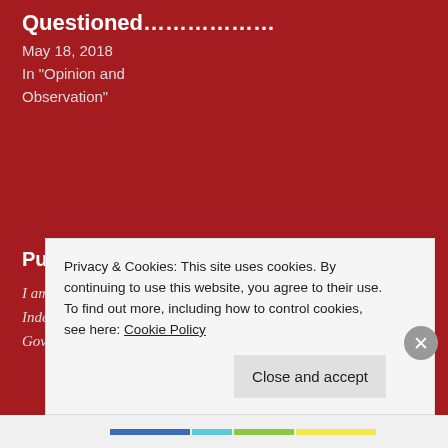Questioned………………
May 18, 2018
In "Opinion and Observation"
Published by crankychronicles
I am a common-sense American who is an Independent thinker. I believe the Federal Government is corrupt and too large to benefit
[Figure (photo): Circular avatar photo of a man, middle-aged, wearing dark clothing, in a round frame]
Privacy & Cookies: This site uses cookies. By continuing to use this website, you agree to their use.
To find out more, including how to control cookies, see here: Cookie Policy
Close and accept